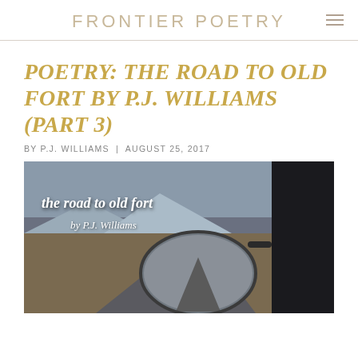FRONTIER POETRY
POETRY: THE ROAD TO OLD FORT BY P.J. WILLIAMS (PART 3)
BY P.J. WILLIAMS | AUGUST 25, 2017
[Figure (photo): Photograph taken from inside a vehicle, showing a side mirror reflecting a road stretching into a mountainous landscape. White handwritten-style text overlaid reads 'the road to old fort' and 'by P.J. Williams'.]